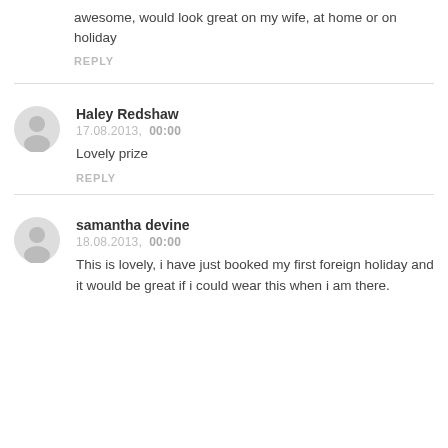awesome, would look great on my wife, at home or on holiday
REPLY
Haley Redshaw
17.08.2013,  00:00
Lovely prize
REPLY
samantha devine
18.08.2013,  00:00
This is lovely, i have just booked my first foreign holiday and it would be great if i could wear this when i am there.